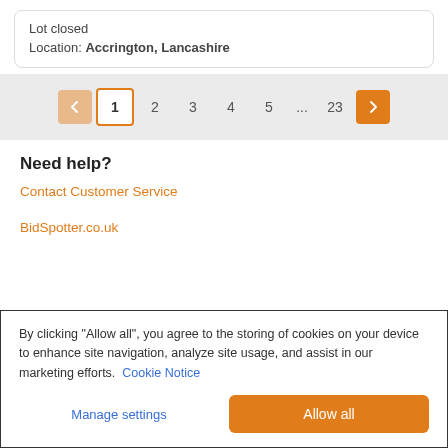Lot closed
Location: Accrington, Lancashire
[Figure (other): Pagination control: previous button (disabled/light), page 1 (current, outlined), pages 2, 3, 4, 5, ..., 23, next button (orange)]
Need help?
Contact Customer Service
BidSpotter.co.uk
By clicking “Allow all”, you agree to the storing of cookies on your device to enhance site navigation, analyze site usage, and assist in our marketing efforts. Cookie Notice
Manage settings | Allow all